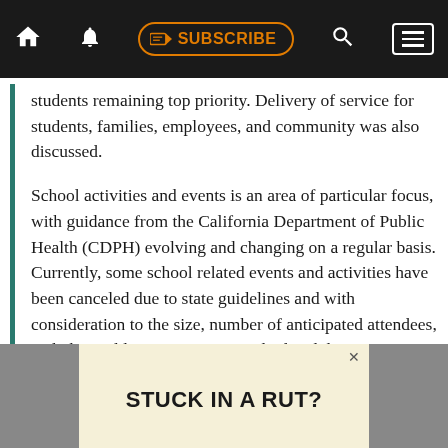SUBSCRIBE
students remaining top priority. Delivery of service for students, families, employees, and community was also discussed.
School activities and events is an area of particular focus, with guidance from the California Department of Public Health (CDPH) evolving and changing on a regular basis. Currently, some school related events and activities have been canceled due to state guidelines and with consideration to the size, number of anticipated attendees, and physical location. HCOE and related districts are notifying stakeholders and the community as these decisions are made.
[Figure (other): Advertisement banner reading STUCK IN A RUT?]